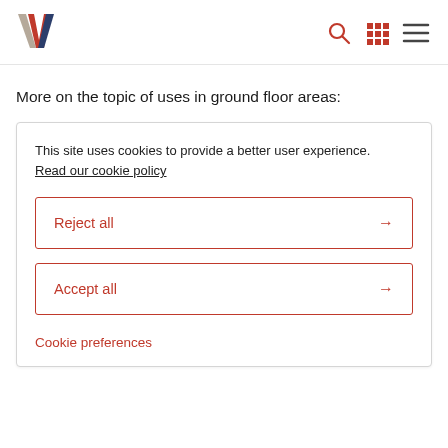[Figure (logo): W-shaped logo with red, navy, and grey/taupe colors in top left corner]
[Figure (infographic): Top navigation icons: search (magnifying glass), grid (apps), hamburger menu — in red/dark grey]
More on the topic of uses in ground floor areas:
This site uses cookies to provide a better user experience. Read our cookie policy
Reject all →
Accept all →
Cookie preferences